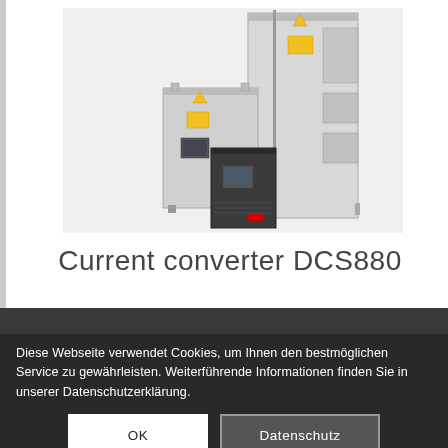[Figure (photo): Product photo of ABB Current Converter DCS880 showing three units of different sizes in grey/white enclosures with yellow warning labels]
Current converter DCS880
Technical catalog
12-Pulse Manual
Quick guide for installation and commissioning
Diese Webseite verwendet Cookies, um Ihnen den bestmöglichen Service zu gewährleisten. Weiterführende Informationen finden Sie in unserer Datenschutzerklärung.